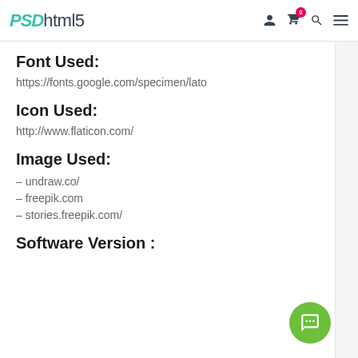PSDhtml5
Font Used:
https://fonts.google.com/specimen/lato
Icon Used:
http://www.flaticon.com/
Image Used:
– undraw.co/
– freepik.com
– stories.freepik.com/
Software Version :